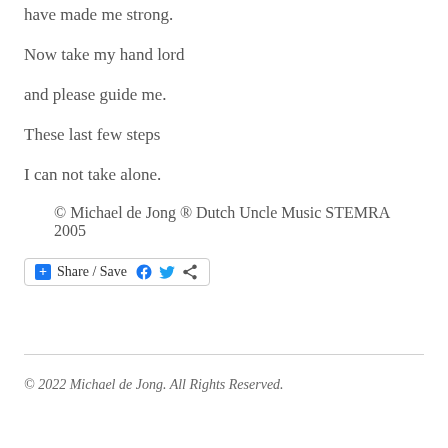have made me strong.
Now take my hand lord
and please guide me.
These last few steps
I can not take alone.
© Michael de Jong ® Dutch Uncle Music STEMRA 2005
[Figure (other): Share / Save button with Facebook and Twitter icons]
© 2022 Michael de Jong. All Rights Reserved.